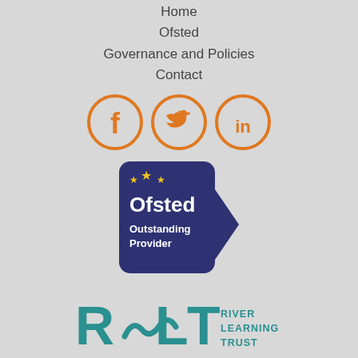Home
Ofsted
Governance and Policies
Contact
[Figure (logo): Social media icons: Facebook, Twitter, LinkedIn in orange circles]
[Figure (logo): Ofsted Outstanding Provider badge, navy blue with gold stars]
[Figure (logo): River Learning Trust logo with teal RLT letters and wave graphic]
Registered in England and Wales: URN/ HEFCE: 10046745
Site by: Orange and Blue